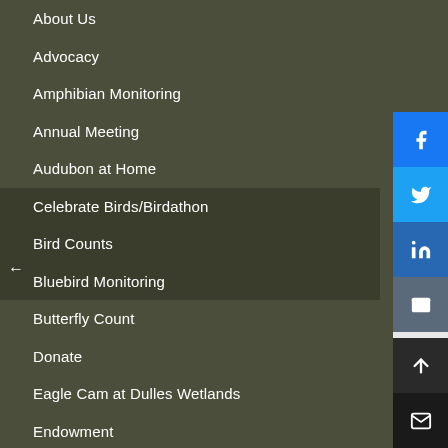About Us
Advocacy
Amphibian Monitoring
Annual Meeting
Audubon at Home
Celebrate Birds/Birdathon
Bird Counts
Bluebird Monitoring
Butterfly Count
Donate
Eagle Cam at Dulles Wetlands
Endowment
Habitat Herald Newsletters